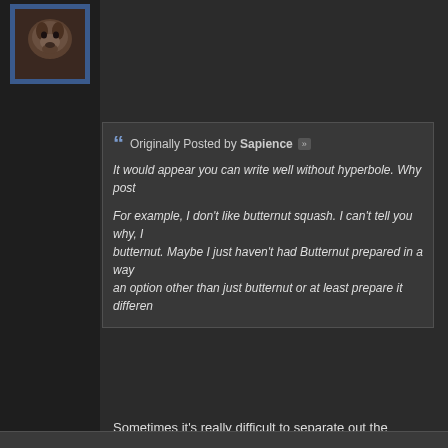[Figure (photo): Avatar image of a dog with blue star-patterned border]
Originally Posted by Sapience
It would appear you can write well without hyperbole. Why post...
For example, I don't like butternut squash. I can't tell you why, I... butternut. Maybe I just haven't had Butternut prepared in a way... an option other than just butternut or at least prepare it differen...
Sometimes it's really difficult to separate out the negativity from the re...
Case in point, back when the fate changes were occurring, captains ha... was ecstatic because it meant that we could finally drop this trait tax a...
So what did Eg do? She maintained the status quo, and gave us all of... most useless of all of our tactics) got nerfed because I guess it was giv...
Admittedly, I couldn't keep the frustration out of the posting, and said a... perceived to be a very bad thing for the captain class that was factorin...
But the point I'm making, when we get mad and start behaving poorly,